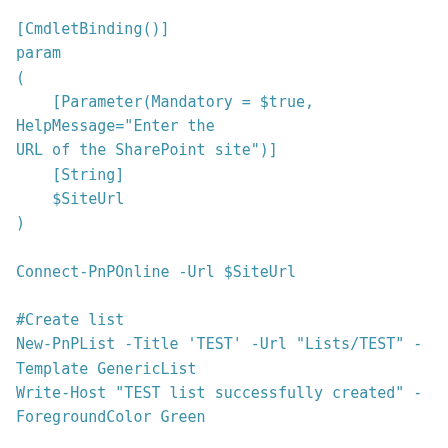[CmdletBinding()]
param
(
    [Parameter(Mandatory = $true, HelpMessage="Enter the URL of the SharePoint site")]
    [String]
    $SiteUrl
)

Connect-PnPOnline -Url $SiteUrl

#Create list
New-PnPList -Title 'TEST' -Url "Lists/TEST" -Template GenericList
Write-Host "TEST list successfully created" -ForegroundColor Green